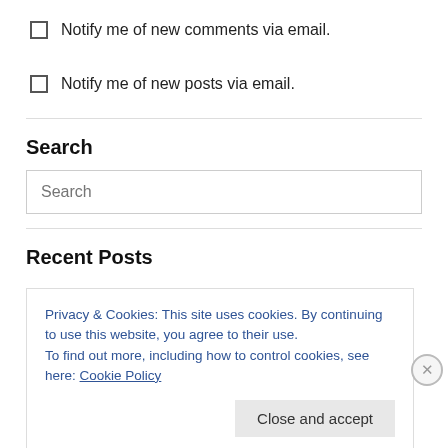Notify me of new comments via email.
Notify me of new posts via email.
Search
Search
Recent Posts
Privacy & Cookies: This site uses cookies. By continuing to use this website, you agree to their use.
To find out more, including how to control cookies, see here: Cookie Policy
Close and accept